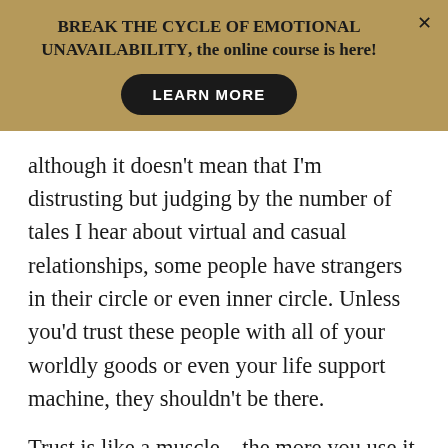BREAK THE CYCLE OF EMOTIONAL UNAVAILABILITY, the online course is here!
LEARN MORE
although it doesn't mean that I'm distrusting but judging by the number of tales I hear about virtual and casual relationships, some people have strangers in their circle or even inner circle. Unless you'd trust these people with all of your worldly goods or even your life support machine, they shouldn't be there.
Trust is like a muscle – the more you use it and learn from the feedback of each